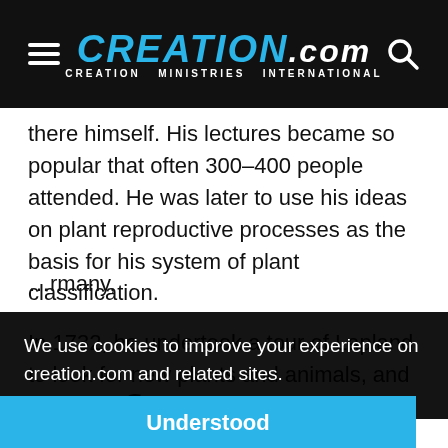CREATION.com — CREATION MINISTRIES INTERNATIONAL
there himself. His lectures became so popular that often 300–400 people attended. He was later to use his ideas on plant reproductive processes as the basis for his system of plant classification.
In 1732, he undertook a tour of Lapland to look for new plants and animals, and possible valuable minerals.8 It was here that he found large quantities of the
…rmany,
We use cookies to improve your experience on creation.com and related sites. Privacy Policy
Understood
professor